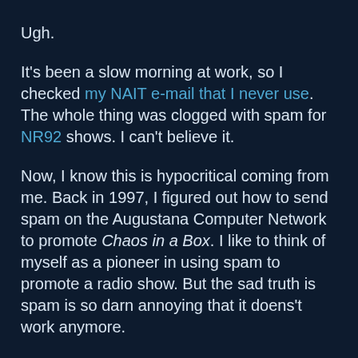Ugh.
It's been a slow morning at work, so I checked my NAIT e-mail that I never use. The whole thing was clogged with spam for NR92 shows. I can't believe it.
Now, I know this is hypocritical coming from me. Back in 1997, I figured out how to send spam on the Augustana Computer Network to promote Chaos in a Box. I like to think of myself as a pioneer in using spam to promote a radio show. But the sad truth is spam is so darn annoying that it doens't work anymore.
If, *IF* a person insists on using spam to promote their radio show, this is what I suggest:
1) Keep it SHORT!! Five lines max. This way, people may scan it before they delete it.
2) Make it something that a person has to sign up for. Make it a newsletter instead of spam. People will read it if they